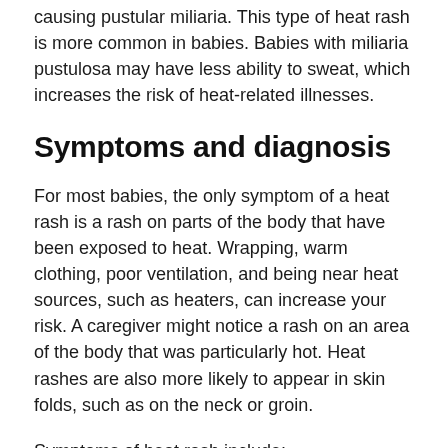causing pustular miliaria. This type of heat rash is more common in babies. Babies with miliaria pustulosa may have less ability to sweat, which increases the risk of heat-related illnesses.
Symptoms and diagnosis
For most babies, the only symptom of a heat rash is a rash on parts of the body that have been exposed to heat. Wrapping, warm clothing, poor ventilation, and being near heat sources, such as heaters, can increase your risk. A caregiver might notice a rash on an area of the body that was particularly hot. Heat rashes are also more likely to appear in skin folds, such as on the neck or groin.
Symptoms of heat rash include: